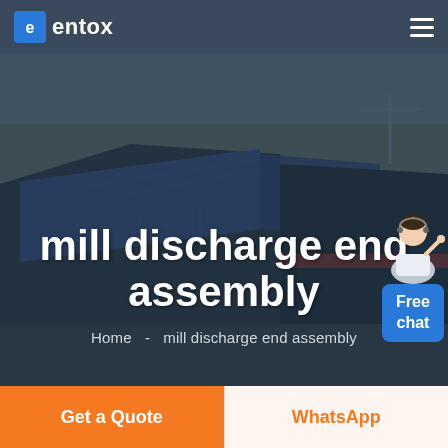entox
[Figure (screenshot): Aerial photograph of large industrial buildings with blue roofs, serving as the hero background image]
mill discharge end assembly
Home  -  mill discharge end assembly
[Figure (illustration): Customer service agent figure with Free chat button]
Get a Quote
WhatsApp